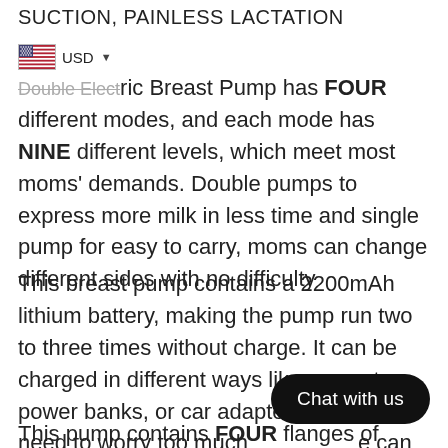SUCTION, PAINLESS LACTATION
USD (currency selector with US flag)
Double Electric Breast Pump has FOUR different modes, and each mode has NINE different levels, which meet most moms' demands. Double pumps to express more milk in less time and single pump for easy to carry, moms can change different sides with no difficulty
This breast pump contains a 2200mAh lithium battery, making the pump run two to three times without charge. It can be charged in different ways like computers, power banks, or car adapter. Moms no need to worry too much [obscured] can not run outside because of [obscured]
This pump contains FOUR flanges of different
Chat with us